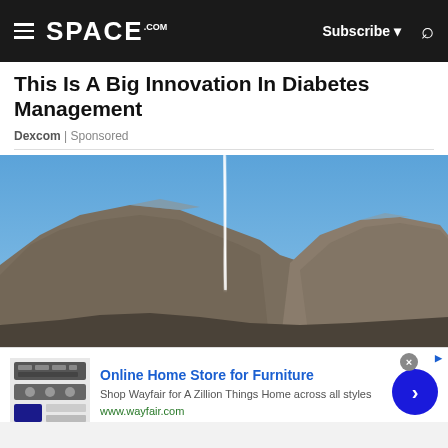SPACE.com | Subscribe | Search
This Is A Big Innovation In Diabetes Management
Dexcom | Sponsored
[Figure (photo): Rocket launch with white smoke trail ascending against a clear blue sky over a rocky mountain range]
[Figure (photo): Wayfair advertisement: Online Home Store for Furniture. Shop Wayfair for A Zillion Things Home across all styles. www.wayfair.com]